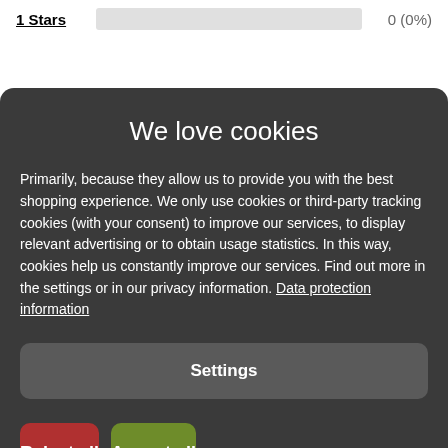1 Stars   0 (0%)
We love cookies
Primarily, because they allow us to provide you with the best shopping experience. We only use cookies or third-party tracking cookies (with your consent) to improve our services, to display relevant advertising or to obtain usage statistics. In this way, cookies help us constantly improve our services. Find out more in the settings or in our privacy information. Data protection information
Settings
Reject all
Accept all